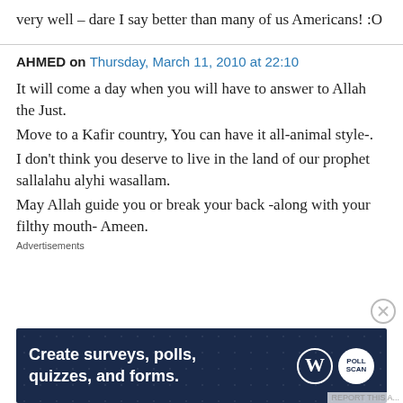very well – dare I say better than many of us Americans! :O
AHMED on Thursday, March 11, 2010 at 22:10
It will come a day when you will have to answer to Allah the Just.
Move to a Kafir country, You can have it all-animal style-.
I don't think you deserve to live in the land of our prophet sallalahu alyhi wasallam.
May Allah guide you or break your back -along with your filthy mouth- Ameen.
Advertisements
[Figure (screenshot): Advertisement banner: dark blue background with white bold text 'Create surveys, polls, quizzes, and forms.' with WordPress and poll logos on the right.]